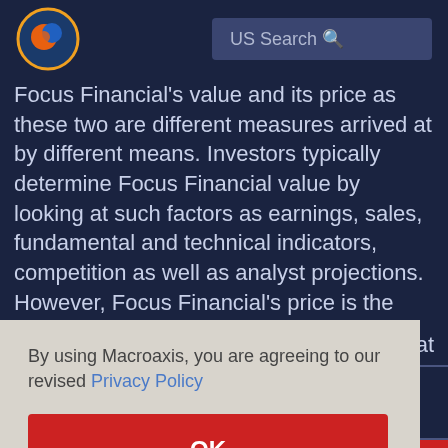US Search
Focus Financial's value and its price as these two are different measures arrived at by different means. Investors typically determine Focus Financial value by looking at such factors as earnings, sales, fundamental and technical indicators, competition as well as analyst projections. However, Focus Financial's price is the amount at which it
er that
By using Macroaxis, you are agreeing to our revised Privacy Policy
OK